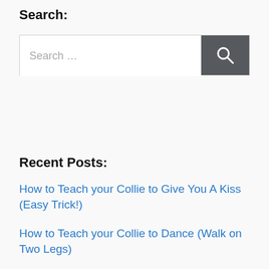Search:
[Figure (screenshot): Search input field with placeholder text 'Search …' and a dark grey search button with a magnifying glass icon]
Recent Posts:
How to Teach your Collie to Give You A Kiss (Easy Trick!)
How to Teach your Collie to Dance (Walk on Two Legs)